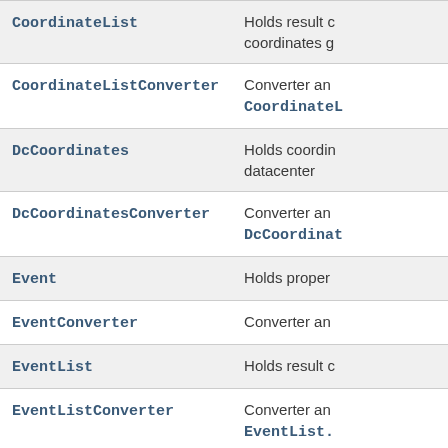| Class | Description |
| --- | --- |
| CoordinateList | Holds result c… coordinates g… |
| CoordinateListConverter | Converter an… CoordinateL… |
| DcCoordinates | Holds coordin… datacenter |
| DcCoordinatesConverter | Converter an… DcCoordinat… |
| Event | Holds proper… |
| EventConverter | Converter an… |
| EventList | Holds result c… |
| EventListConverter | Converter an… EventList. |
| EventListOptions | Holds options… request |
| EventListOptionsConverter | Converter… |